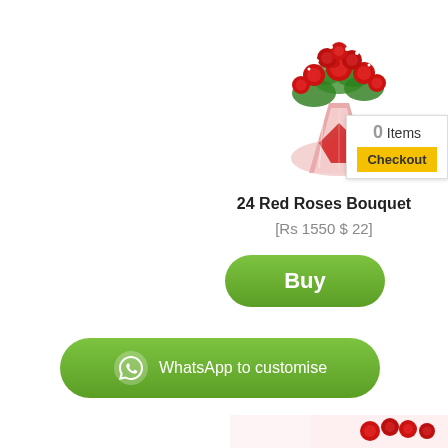[Figure (photo): A bouquet of 24 red roses wrapped in white and red paper, photographed on white background]
[Figure (infographic): Cart widget showing '0 Items' in gray text and a yellow 'Checkout' button]
24 Red Roses Bouquet
[Rs 1550 $ 22]
[Figure (infographic): Green rounded 'Buy' button]
[Figure (infographic): Green rounded WhatsApp button with phone icon and text 'WhatsApp to customise']
[Figure (photo): Partial view of another red roses product at the bottom of the page]